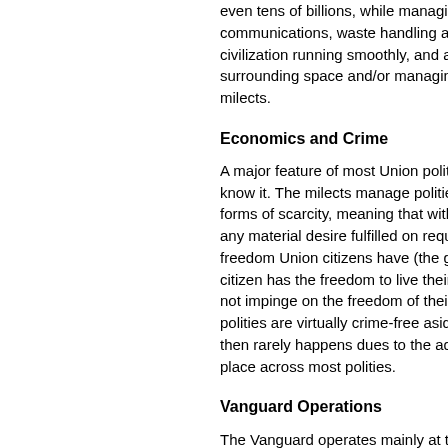each citizen, which in large nations can be even tens of billions, while managing communications, waste handling and keeping civilization running smoothly, and also defending surrounding space and/or managing other milects.
Economics and Crime
A major feature of most Union polities is know it. The milects manage polities' forms of scarcity, meaning that within any material desire fulfilled on request, freedom Union citizens have (the gui citizen has the freedom to live their li not impinge on the freedom of their f polities are virtually crime-free aside then rarely happens dues to the adva place across most polities.
Vanguard Operations
The Vanguard operates mainly at the outside invasion, exploring space aro and advancing Union interests amon "Prime Directive" as such, but caref they should intervene in the societies autonomous that intervention should b